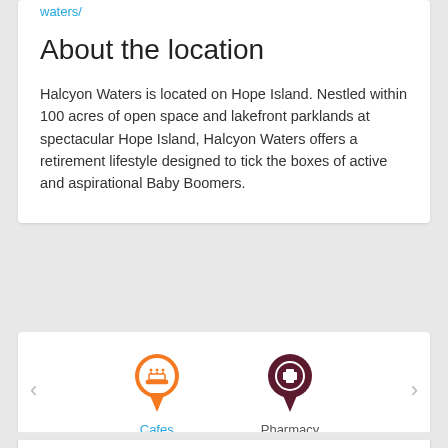waters/
About the location
Halcyon Waters is located on Hope Island. Nestled within 100 acres of open space and lakefront parklands at spectacular Hope Island, Halcyon Waters offers a retirement lifestyle designed to tick the boxes of active and aspirational Baby Boomers.
[Figure (infographic): Two map pin icons side by side with navigation arrows. Left pin is orange with a cafe/cake icon inside labeled 'Cafes' in blue. Right pin is dark red/maroon with a medical cross icon inside labeled 'Pharmacy' in gray.]
Cafes